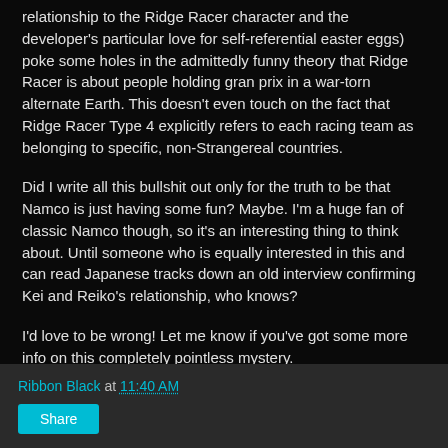relationship to the Ridge Racer character and the developer's particular love for self-referential easter eggs) poke some holes in the admittedly funny theory that Ridge Racer is about people holding gran prix in a war-torn alternate Earth. This doesn't even touch on the fact that Ridge Racer Type 4 explicitly refers to each racing team as belonging to specific, non-Strangereal countries.
Did I write all this bullshit out only for the truth to be that Namco is just having some fun? Maybe. I'm a huge fan of classic Namco though, so it's an interesting thing to think about. Until someone who is equally interested in this and can read Japanese tracks down an old interview confirming Kei and Reiko's relationship, who knows?
I'd love to be wrong! Let me know if you've got some more info on this completely pointless mystery.
Ribbon Black at 11:40 AM  Share